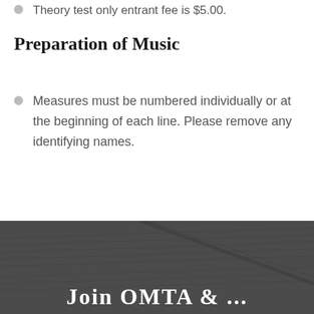Theory test only entrant fee is $5.00.
Preparation of Music
Measures must be numbered individually or at the beginning of each line. Please remove any identifying names.
[Figure (photo): Dark background photo of sheet music/manuscript paper with pencil, with partial white bold text at the bottom reading 'Join OMTA...']